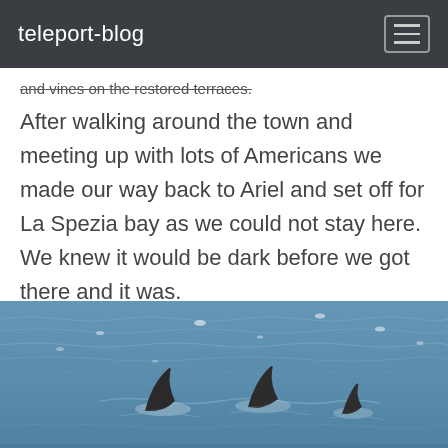teleport-blog
and vines on the restored terraces.
After walking around the town and meeting up with lots of Americans we made our way back to Ariel and set off for La Spezia bay as we could not stay here.  We knew it would be dark before we got there and it was.
[Figure (photo): Three dolphin fins visible above choppy blue ocean water, with sunlight reflecting on the surface.]